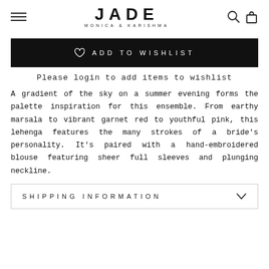JADE MONICA & KARISHMA
[Figure (other): Add to Wishlist button with heart icon on black background]
Please login to add items to wishlist
A gradient of the sky on a summer evening forms the palette inspiration for this ensemble. From earthy marsala to vibrant garnet red to youthful pink, this lehenga features the many strokes of a bride's personality. It's paired with a hand-embroidered blouse featuring sheer full sleeves and plunging neckline.
SHIPPING INFORMATION